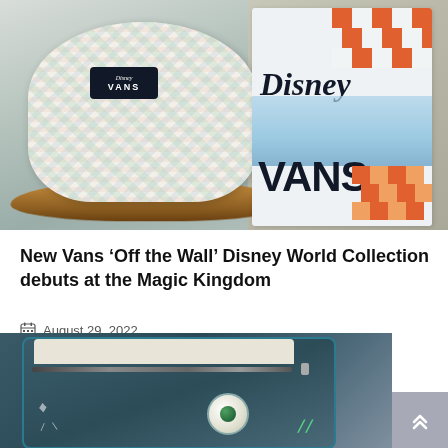[Figure (photo): Disney x Vans bucket hat with colorful park-themed pattern displayed in front of a Disney Vans branded sign with orange checkerboard design]
New Vans ‘Off the Wall’ Disney World Collection debuts at the Magic Kingdom
August 29, 2022
[Figure (photo): Dark teal Loungefly backpack with monster/character eye details and chalk-style illustrations, partially visible at bottom of page]